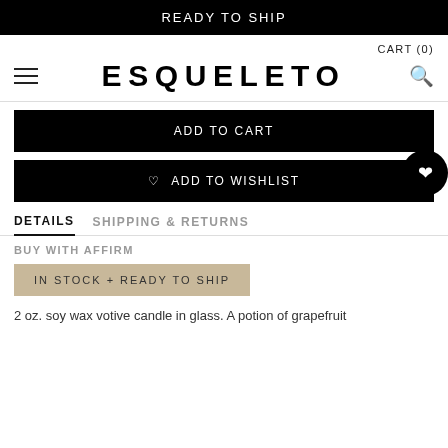READY TO SHIP
CART (0)
ESQUELETO
ADD TO CART
♡  ADD TO WISHLIST
DETAILS
SHIPPING & RETURNS
BUY WITH AFFIRM
IN STOCK + READY TO SHIP
2 oz. soy wax votive candle in glass. A potion of grapefruit